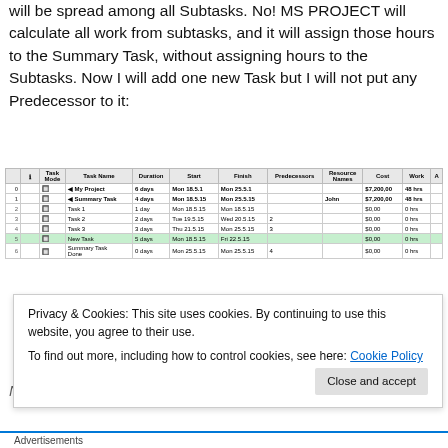will be spread among all Subtasks. No! MS PROJECT will calculate all work from subtasks, and it will assign those hours to the Summary Task, without assigning hours to the Subtasks. Now I will add one new Task but I will not put any Predecessor to it:
[Figure (screenshot): MS Project table showing tasks: My Project (6 days), Summary Task (4 days, John, $7,200.00, 48 hrs), Task 1 (1 day), Task 2 (2 days), Task 3 (3 days), New Task (5 days, highlighted green), Summary Task Done (0 days)]
Notice that nothing changed, since New Task is shorter in
Privacy & Cookies: This site uses cookies. By continuing to use this website, you agree to their use.
To find out more, including how to control cookies, see here: Cookie Policy
Advertisements